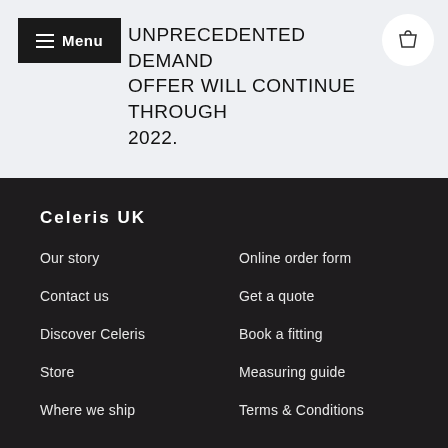UNPRECEDENTED DEMAND OFFER WILL CONTINUE THROUGH 2022.
Celeris UK
Our story
Online order form
Contact us
Get a quote
Discover Celeris
Book a fitting
Store
Measuring guide
Where we ship
Terms & Conditions